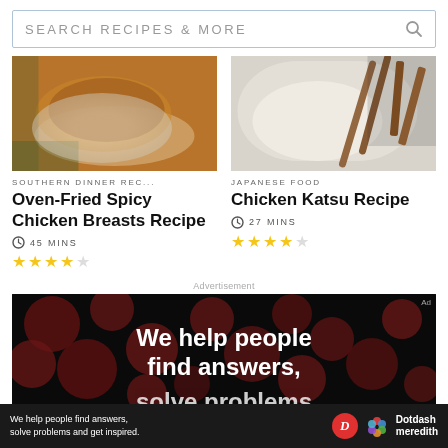SEARCH RECIPES & MORE
SOUTHERN DINNER REC...
Oven-Fried Spicy Chicken Breasts Recipe
45 MINS
★★★★☆
[Figure (photo): Fried chicken breast on a white plate]
JAPANESE FOOD
Chicken Katsu Recipe
27 MINS
★★★★☆
[Figure (photo): Chicken katsu with rice and chopsticks]
Advertisement
[Figure (photo): Advertisement banner: We help people find answers, solve problems]
We help people find answers, solve problems and get inspired.
Dotdash meredith